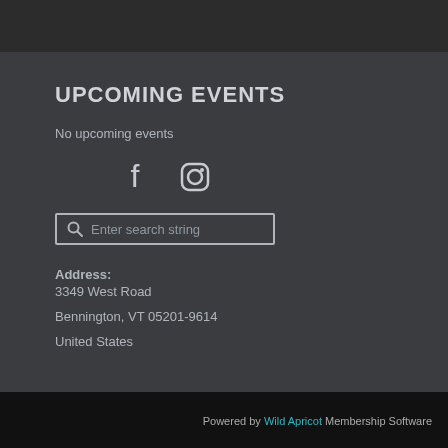UPCOMING EVENTS
No upcoming events
[Figure (other): Social media icons: Facebook and Instagram]
[Figure (other): Search bar with magnifying glass icon and placeholder text 'Enter search string']
Address:
3349 West Road

Bennington, VT 05201-9614

United States
Powered by Wild Apricot Membership Software